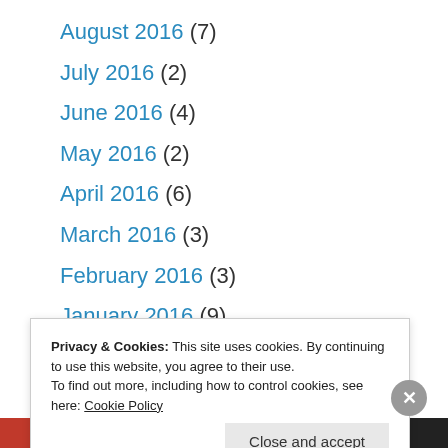August 2016 (7)
July 2016 (2)
June 2016 (4)
May 2016 (2)
April 2016 (6)
March 2016 (3)
February 2016 (3)
January 2016 (9)
December 2015 (1)
Privacy & Cookies: This site uses cookies. By continuing to use this website, you agree to their use.
To find out more, including how to control cookies, see here: Cookie Policy
Close and accept